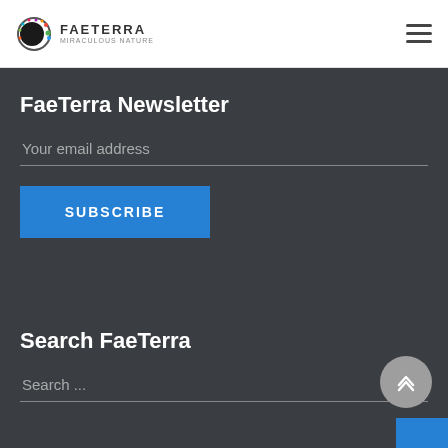FaeTerra
FaeTerra Newsletter
Your email address
SUBSCRIBE
Search FaeTerra
Search ...